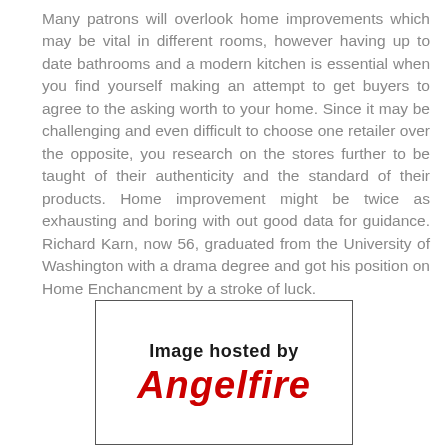Many patrons will overlook home improvements which may be vital in different rooms, however having up to date bathrooms and a modern kitchen is essential when you find yourself making an attempt to get buyers to agree to the asking worth to your home. Since it may be challenging and even difficult to choose one retailer over the opposite, you research on the stores further to be taught of their authenticity and the standard of their products. Home improvement might be twice as exhausting and boring with out good data for guidance. Richard Karn, now 56, graduated from the University of Washington with a drama degree and got his position on Home Enchancment by a stroke of luck.
[Figure (illustration): Image hosted by Angelfire placeholder image box with black border, showing text 'Image hosted by' in black bold and 'Angelfire' in large red bold italic font.]